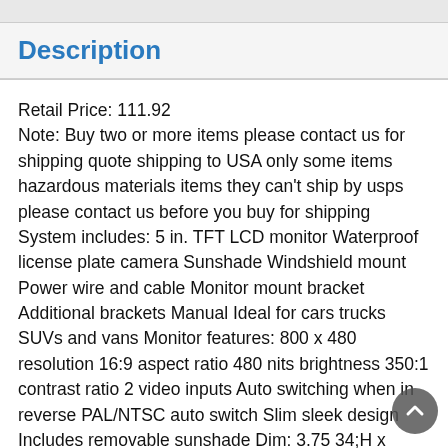Description
Retail Price: 111.92
Note: Buy two or more items please contact us for shipping quote shipping to USA only some items hazardous materials items they can't ship by usps please contact us before you buy for shipping
System includes: 5 in. TFT LCD monitor Waterproof license plate camera Sunshade Windshield mount Power wire and cable Monitor mount bracket Additional brackets Manual Ideal for cars trucks SUVs and vans Monitor features: 800 x 480 resolution 16:9 aspect ratio 480 nits brightness 350:1 contrast ratio 2 video inputs Auto switching when in reverse PAL/NTSC auto switch Slim sleek design Includes removable sunshade Dim: 3.75 34;H x 4.125 34;W x .5 34;D Camera features: Highly